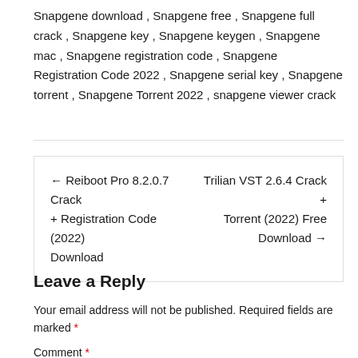Snapgene download , Snapgene free , Snapgene full crack , Snapgene key , Snapgene keygen , Snapgene mac , Snapgene registration code , Snapgene Registration Code 2022 , Snapgene serial key , Snapgene torrent , Snapgene Torrent 2022 , snapgene viewer crack
← Reiboot Pro 8.2.0.7 Crack + Registration Code (2022) Download
Trilian VST 2.6.4 Crack + Torrent (2022) Free Download →
Leave a Reply
Your email address will not be published. Required fields are marked *
Comment *